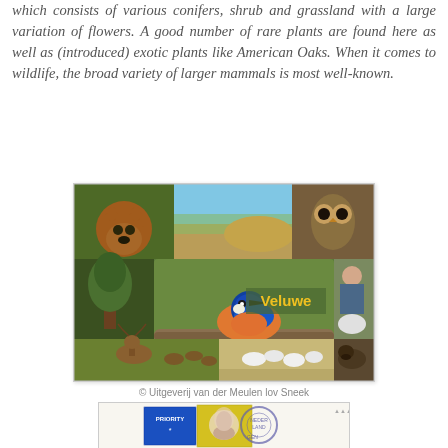which consists of various conifers, shrub and grassland with a large variation of flowers. A good number of rare plants are found here as well as (introduced) exotic plants like American Oaks. When it comes to wildlife, the broad variety of larger mammals is most well-known.
[Figure (photo): Collage of Veluwe wildlife and nature photos: fox, sandy landscape, owl, trees, kingfisher (center, labeled 'Veluwe' in yellow), person with animal, deer, sheep flock, wild boar]
© Uitgeverij van der Meulen lov Sneek
[Figure (photo): Postcard with Dutch postage stamps (blue priority stamp, yellow Dutch stamp with portrait) and a circular postmark]